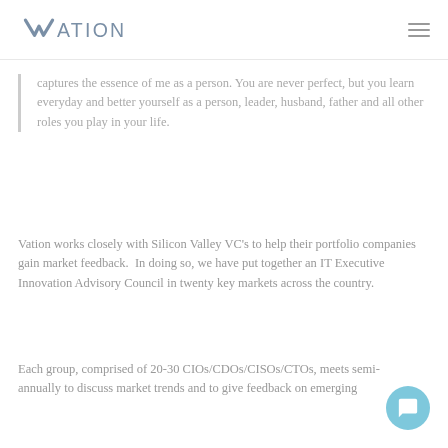Vation
captures the essence of me as a person. You are never perfect, but you learn everyday and better yourself as a person, leader, husband, father and all other roles you play in your life.
Vation works closely with Silicon Valley VC’s to help their portfolio companies gain market feedback.  In doing so, we have put together an IT Executive Innovation Advisory Council in twenty key markets across the country.
Each group, comprised of 20-30 CIOs/CDOs/CISOs/CTOs, meets semi-annually to discuss market trends and to give feedback on emerging